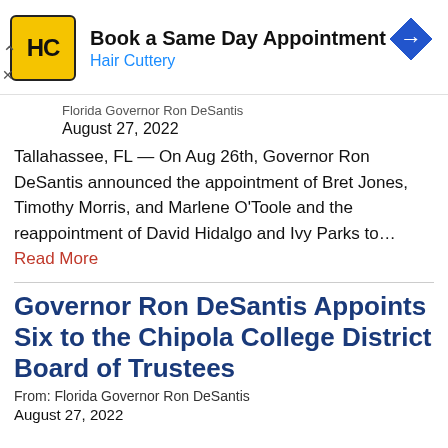[Figure (infographic): Hair Cuttery advertisement banner with yellow/black HC logo and blue navigation arrow icon. Text: Book a Same Day Appointment, Hair Cuttery]
Florida Governor Ron DeSantis
August 27, 2022
Tallahassee, FL — On Aug 26th, Governor Ron DeSantis announced the appointment of Bret Jones, Timothy Morris, and Marlene O'Toole and the reappointment of David Hidalgo and Ivy Parks to... Read More
Governor Ron DeSantis Appoints Six to the Chipola College District Board of Trustees
From: Florida Governor Ron DeSantis
August 27, 2022